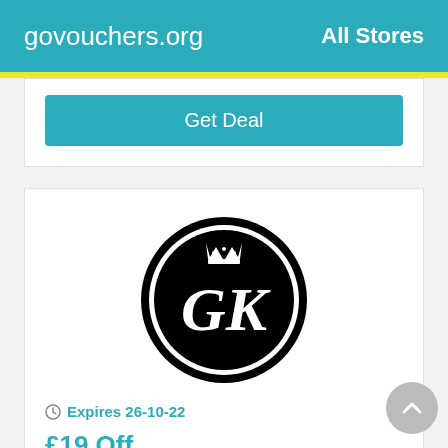govouchers.org   All Stores
Get Deal
[Figure (logo): Gym King logo: black circle with stylized GK letters and crown, white on black background]
Expires 26-10-22
£19 Off
Save On The Gym King Ribbed Cycle Short - Grey L – Was £19.99, Now Just £14.99